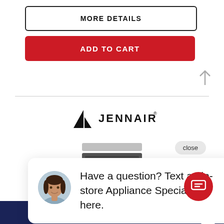MORE DETAILS
ADD TO CART
[Figure (logo): JennAir brand logo with stylized sailboat icon and JENNAIR wordmark]
[Figure (screenshot): Chat popup with female avatar photo and message: Have a question? Text an in-store Appliance Specialist here.]
Have a question? Text an in-store Appliance Specialist here.
Make An Appointment →